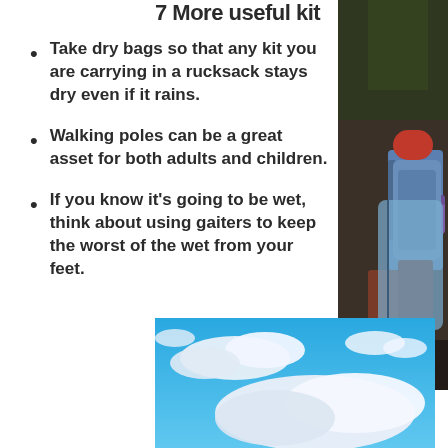7 More useful kit
Take dry bags so that any kit you are carrying in a rucksack stays dry even if it rains.
Walking poles can be a great asset for both adults and children.
If you know it's going to be wet, think about using gaiters to keep the worst of the wet from your feet.
[Figure (photo): Hikers with backpacks and water bottles, wearing outdoor gear, photographed from behind in a forested area]
[Figure (photo): Blue sky with white clouds, outdoor landscape photo]